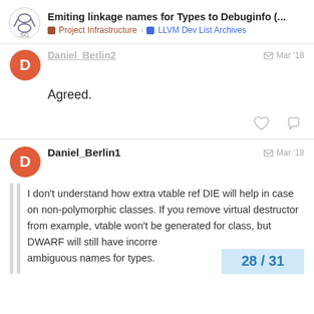Emiting linkage names for Types to Debuginfo (... | Project Infrastructure > LLVM Dev List Archives
Daniel_Berlin2 Mar '18
Agreed.
Daniel_Berlin1 Mar '18
I don't understand how extra vtable ref DIE will help in case on non-polymorphic classes. If you remove virtual destructor from example, vtable won't be generated for class, but DWARF will still have incorrect ambiguous names for types.
28 / 31